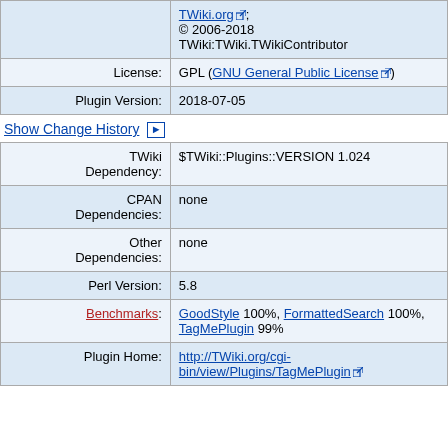| Label | Value |
| --- | --- |
|  | TWiki.org; © 2006-2018 TWiki:TWiki.TWikiContributor |
| License: | GPL (GNU General Public License) |
| Plugin Version: | 2018-07-05 |
Show Change History ▶
| Label | Value |
| --- | --- |
| TWiki Dependency: | $TWiki::Plugins::VERSION 1.024 |
| CPAN Dependencies: | none |
| Other Dependencies: | none |
| Perl Version: | 5.8 |
| Benchmarks: | GoodStyle 100%, FormattedSearch 100%, TagMePlugin 99% |
| Plugin Home: | http://TWiki.org/cgi-bin/view/Plugins/TagMePlugin |